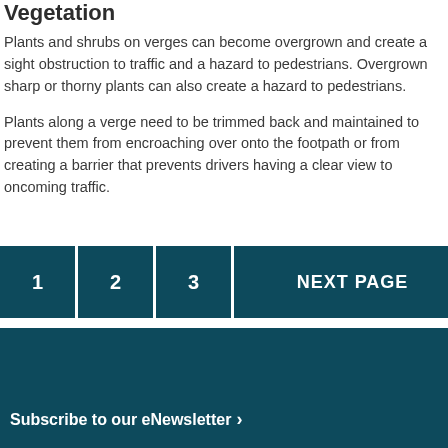Vegetation
Plants and shrubs on verges can become overgrown and create a sight obstruction to traffic and a hazard to pedestrians. Overgrown sharp or thorny plants can also create a hazard to pedestrians.
Plants along a verge need to be trimmed back and maintained to prevent them from encroaching over onto the footpath or from creating a barrier that prevents drivers having a clear view to oncoming traffic.
1  2  3  NEXT PAGE
Subscribe to our eNewsletter